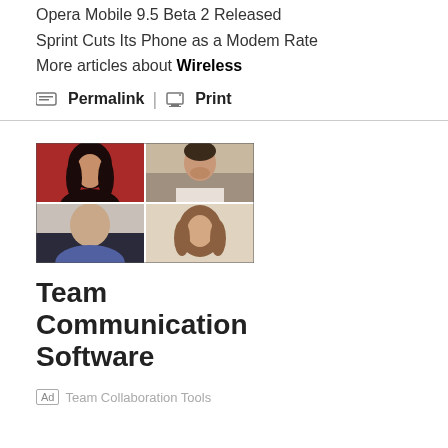Opera Mobile 9.5 Beta 2 Released
Sprint Cuts Its Phone as a Modem Rate
More articles about Wireless
🖷 Permalink  |  🖨 Print
[Figure (photo): 2x2 grid of video call participants: top-left woman with dark hair against red background, top-right man in white shirt, bottom-left bald man, bottom-right woman with wavy hair]
Team Communication Software
Ad  Team Collaboration Tools